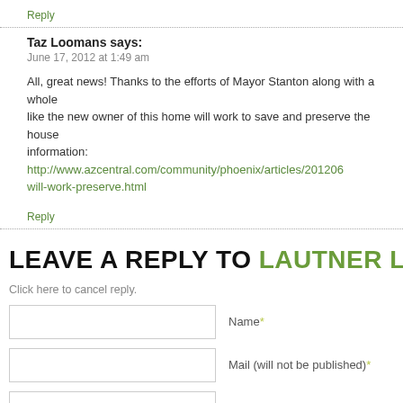Reply
Taz Loomans says:
June 17, 2012 at 1:49 am
All, great news! Thanks to the efforts of Mayor Stanton along with a whole like the new owner of this home will work to save and preserve the house information: http://www.azcentral.com/community/phoenix/articles/201206 will-work-preserve.html
Reply
LEAVE A REPLY TO LAUTNER LO
Click here to cancel reply.
Name*
Mail (will not be published)*
Website